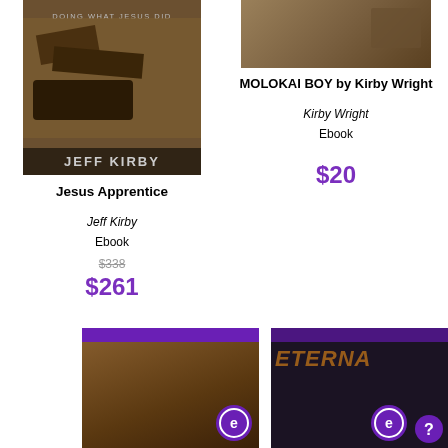[Figure (photo): Book cover of Jesus Apprentice by Jeff Kirby, showing dark wooden workshop scene with 'DOING WHAT JESUS DID' text and author name Jeff Kirby]
[Figure (photo): Partial photo of Molokai Boy book by Kirby Wright, sepia-toned image]
Jesus Apprentice
MOLOKAI BOY by Kirby Wright
Jeff Kirby
Kirby Wright
Ebook
Ebook
$338
$261
$20
[Figure (photo): Bottom left book cover with brown/sepia tones and purple e-reader badge]
[Figure (photo): Bottom right book cover showing 'THE ETERNA...' title in gold letters on dark background with purple e-reader badge and question mark button]